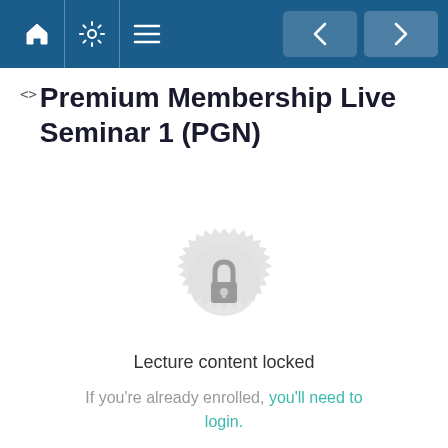Navigation bar with home, settings, menu icons and back/forward arrows
Premium Membership Live Seminar 1 (PGN)
[Figure (illustration): Decorative badge/seal icon with a padlock in the center, light grey color indicating locked content]
Lecture content locked
If you're already enrolled, you'll need to login.